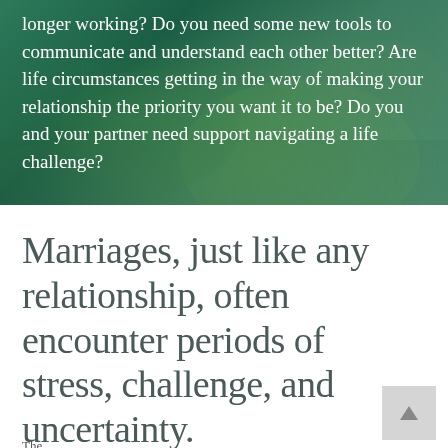[Figure (photo): Green garden/nature background with dark teal-green overlay, partially visible at top of page]
longer working? Do you need some new tools to communicate and understand each other better? Are life circumstances getting in the way of making your relationship the priority you want it to be? Do you and your partner need support navigating a life challenge?
Marriages, just like any relationship, often encounter periods of stress, challenge, and uncertainty.
The...